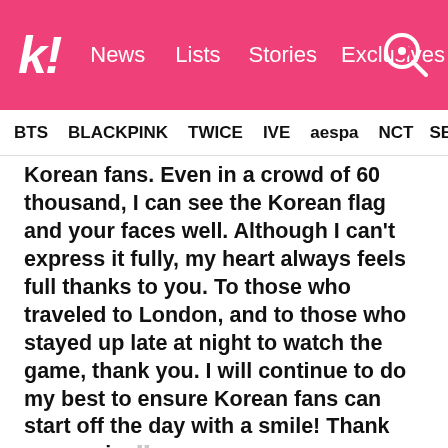Koreaboo — News | Lists | Stories | Exclusives
BTS  BLACKPINK  TWICE  IVE  aespa  NCT  SEVE
Korean fans. Even in a crowd of 60 thousand, I can see the Korean flag and your faces well. Although I can't express it fully, my heart always feels full thanks to you. To those who traveled to London, and to those who stayed up late at night to watch the game, thank you. I will continue to do my best to ensure Korean fans can start off the day with a smile! Thank you again.
As his fans all over the world congratulated the